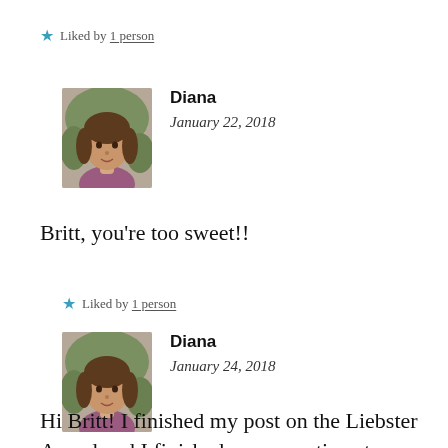★ Liked by 1 person
Diana
January 22, 2018
Britt, you're too sweet!!
★ Liked by 1 person
Diana
January 24, 2018
Hi Britt! I finished my post on the Liebster Award and I finished your questions to me.